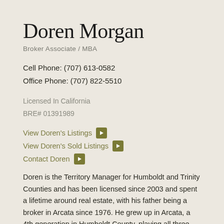Doren Morgan
Broker Associate / MBA
Cell Phone: (707) 613-0582
Office Phone: (707) 822-5510
Licensed In California
BRE# 01391989
View Doren's Listings
View Doren's Sold Listings
Contact Doren
Doren is the Territory Manager for Humboldt and Trinity Counties and has been licensed since 2003 and spent a lifetime around real estate, with his father being a broker in Arcata since 1976. He grew up in Arcata, a 4th generation in Humboldt County, playing all three major sports in high school and baseball in college. His passion